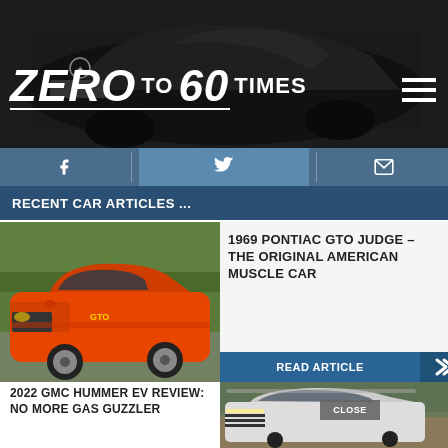[Figure (photo): Black Mercedes-Benz SUV photographed against grey background, front three-quarter view]
ZERO to 60 TIMES
[Figure (infographic): Social media icons: Facebook, Twitter, Email on a blue-grey bar]
RECENT CAR ARTICLES ...
[Figure (photo): Orange 1969 Pontiac GTO Judge muscle car on a road with trees in background]
1969 PONTIAC GTO JUDGE – THE ORIGINAL AMERICAN MUSCLE CAR
READ ARTICLE
2022 GMC HUMMER EV REVIEW: NO MORE GAS GUZZLER
[Figure (photo): White 2022 GMC Hummer EV truck on a dirt road, with CLOSE button overlay]